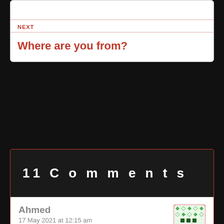NEXT
Where are you from?
11 Comments
Ahmed
17 May 2021 at 12:15 am
Great work! Loved this
Liked by 1 person   REPLY
Ahmed
17 May 2021 at 12:15 am